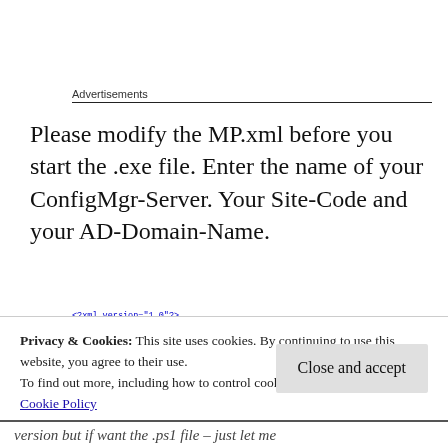Advertisements
Please modify the MP.xml before you start the .exe file. Enter the name of your ConfigMgr-Server. Your Site-Code and your AD-Domain-Name.
[Figure (screenshot): Code snippet showing XML: <?xml version='1.0'?> <MP> <Name>FQDNofSCCM-SERVER</Name> <Code>PS1:\</Code>]
Privacy & Cookies: This site uses cookies. By continuing to use this website, you agree to their use.
To find out more, including how to control cookies, see here: Cookie Policy
Close and accept
version but if want the .ps1 file – just let me